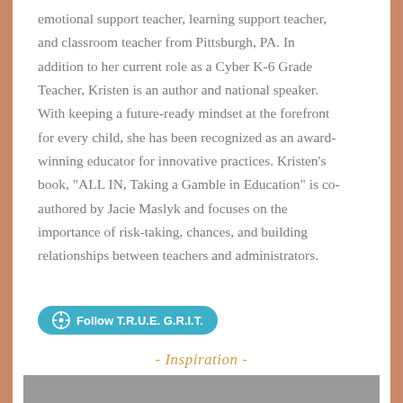emotional support teacher, learning support teacher, and classroom teacher from Pittsburgh, PA. In addition to her current role as a Cyber K-6 Grade Teacher, Kristen is an author and national speaker. With keeping a future-ready mindset at the forefront for every child, she has been recognized as an award-winning educator for innovative practices. Kristen's book, “ALL IN, Taking a Gamble in Education” is co-authored by Jacie Maslyk and focuses on the importance of risk-taking, chances, and building relationships between teachers and administrators.
[Figure (other): A teal/blue rounded button with WordPress icon and text 'Follow T.R.U.E. G.R.I.T.']
- Inspiration -
[Figure (photo): A grayscale outdoor/landscape photo partially visible at the bottom of the page]